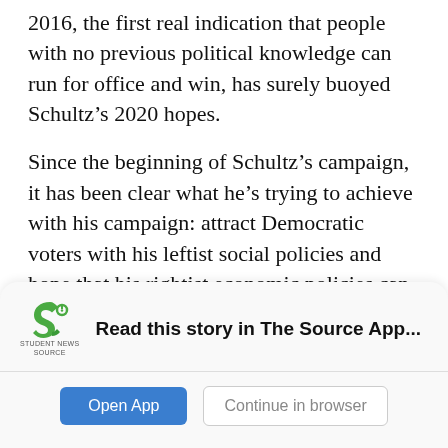2016, the first real indication that people with no previous political knowledge can run for office and win, has surely buoyed Schultz's 2020 hopes.

Since the beginning of Schultz's campaign, it has been clear what he's trying to achieve with his campaign: attract Democratic voters with his leftist social policies and hope that his rightist economic policies can attract the more central Republican voters. Many critics have touted Howard Schultz as the left-centrist Donald Trump, even though Howard Schultz has called Trump unfit for office on many occasions.
[Figure (logo): Student News Source app logo - green stylized 'S' shape with 'STUDENT NEWS SOURCE' text below]
Read this story in The Source App...
Open App    Continue in browser